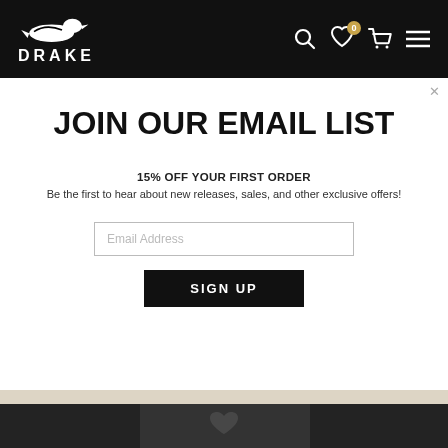[Figure (screenshot): Drake Waterfowl brand navigation bar with duck logo, DRAKE text, search icon, heart icon with 0 badge, cart icon, and hamburger menu on black background]
JOIN OUR EMAIL LIST
15% OFF YOUR FIRST ORDER
Be the first to hear about new releases, sales, and other exclusive offers!
[Figure (photo): Three hunters with dogs walking across an open field, earthy tan/brown tones, outdoor hunting scene]